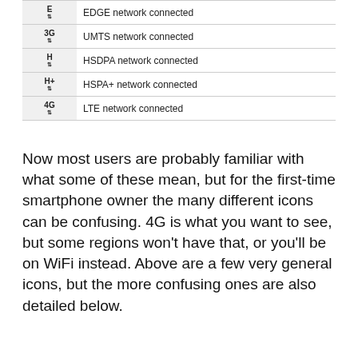| Icon | Description |
| --- | --- |
| E↕ | EDGE network connected |
| 3G↕ | UMTS network connected |
| H↕ | HSDPA network connected |
| H+↕ | HSPA+ network connected |
| 4G↕ | LTE network connected |
Now most users are probably familiar with what some of these mean, but for the first-time smartphone owner the many different icons can be confusing. 4G is what you want to see, but some regions won't have that, or you'll be on WiFi instead. Above are a few very general icons, but the more confusing ones are also detailed below.